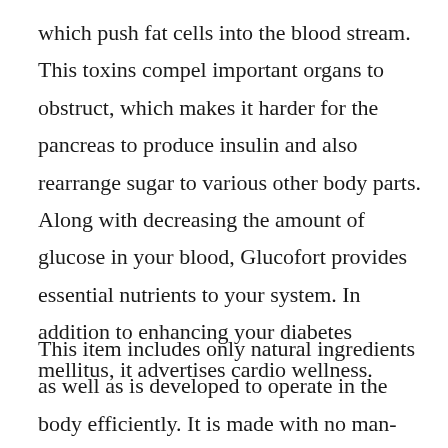which push fat cells into the blood stream. This toxins compel important organs to obstruct, which makes it harder for the pancreas to produce insulin and also rearrange sugar to various other body parts. Along with decreasing the amount of glucose in your blood, Glucofort provides essential nutrients to your system. In addition to enhancing your diabetes mellitus, it advertises cardio wellness.
This item includes only natural ingredients as well as is developed to operate in the body efficiently. It is made with no man-